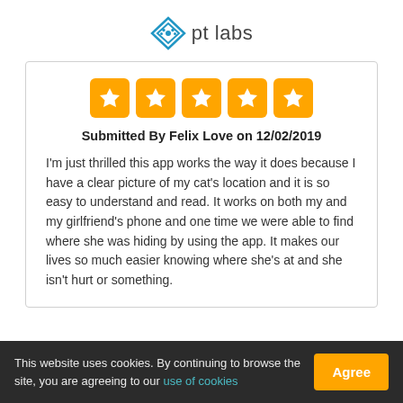[Figure (logo): PT Labs logo: diamond/paw icon followed by text 'pt labs']
[Figure (other): Five orange star rating boxes with white stars]
Submitted By Felix Love on 12/02/2019
I'm just thrilled this app works the way it does because I have a clear picture of my cat's location and it is so easy to understand and read. It works on both my and my girlfriend's phone and one time we were able to find where she was hiding by using the app. It makes our lives so much easier knowing where she's at and she isn't hurt or something.
This website uses cookies. By continuing to browse the site, you are agreeing to our use of cookies  Agree